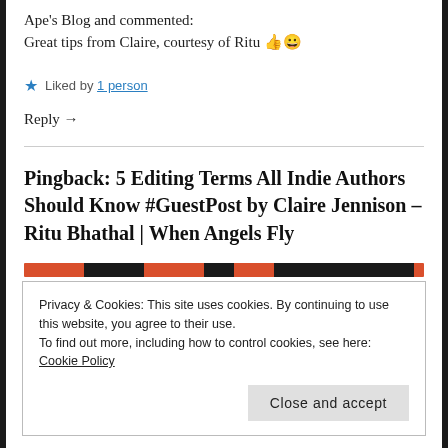Ape's Blog and commented:
Great tips from Claire, courtesy of Ritu 👍😀
★ Liked by 1 person
Reply →
Pingback: 5 Editing Terms All Indie Authors Should Know #GuestPost by Claire Jennison – Ritu Bhathal | When Angels Fly
Privacy & Cookies: This site uses cookies. By continuing to use this website, you agree to their use.
To find out more, including how to control cookies, see here: Cookie Policy
Close and accept